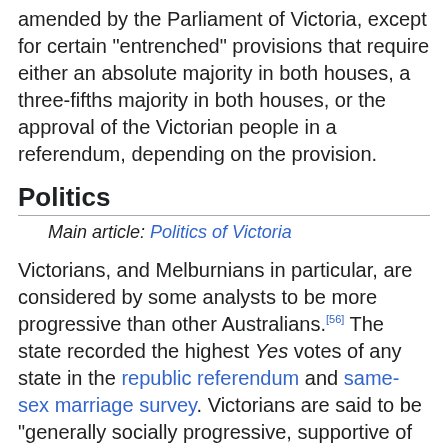amended by the Parliament of Victoria, except for certain "entrenched" provisions that require either an absolute majority in both houses, a three-fifths majority in both houses, or the approval of the Victorian people in a referendum, depending on the provision.
Politics
Main article: Politics of Victoria
Victorians, and Melburnians in particular, are considered by some analysts to be more progressive than other Australians.[56] The state recorded the highest Yes votes of any state in the republic referendum and same-sex marriage survey. Victorians are said to be "generally socially progressive, supportive of multiculturalism, wary of extremes of any kind" [57]